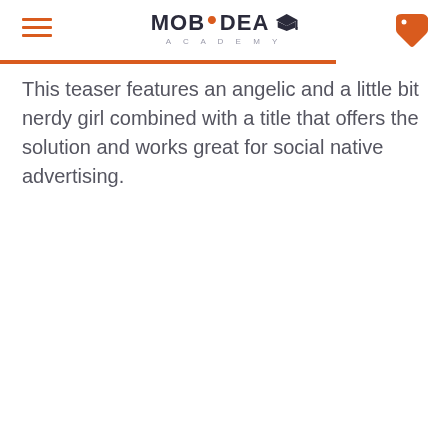MOBIDEA ACADEMY
This teaser features an angelic and a little bit nerdy girl combined with a title that offers the solution and works great for social native advertising.